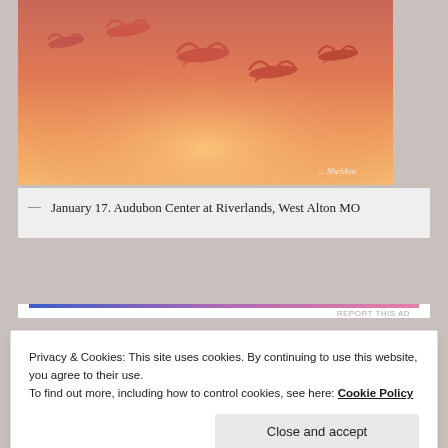[Figure (photo): Birds (flamingos or cranes) flying against an orange-pink sunset sky. The image has a warm coral-orange gradient background with silhouettes of 5-6 large birds in flight. A watermark in script text reads '... Sheldon' in the bottom right corner.]
— January 17. Audubon Center at Riverlands, West Alton MO
Privacy & Cookies: This site uses cookies. By continuing to use this website, you agree to their use.
To find out more, including how to control cookies, see here: Cookie Policy
Close and accept